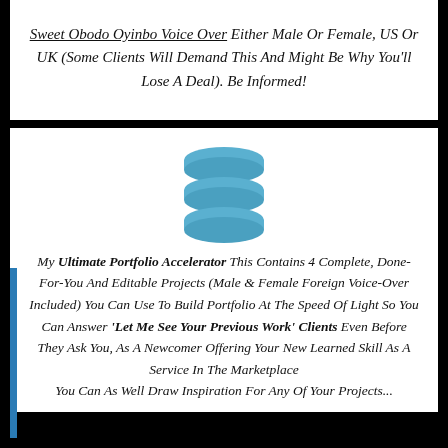Sweet Obodo Oyinbo Voice Over Either Male Or Female, US Or UK (Some Clients Will Demand This And Might Be Why You'll Lose A Deal). Be Informed!
[Figure (logo): Three stacked layers icon in blue/teal color, resembling a Buffer or layered stack logo]
My Ultimate Portfolio Accelerator This Contains 4 Complete, Done-For-You And Editable Projects (Male & Female Foreign Voice-Over Included) You Can Use To Build Portfolio At The Speed Of Light So You Can Answer 'Let Me See Your Previous Work' Clients Even Before They Ask You, As A Newcomer Offering Your New Learned Skill As A Service In The Marketplace
You Can As Well Draw Inspiration For Any Of Your Projects...